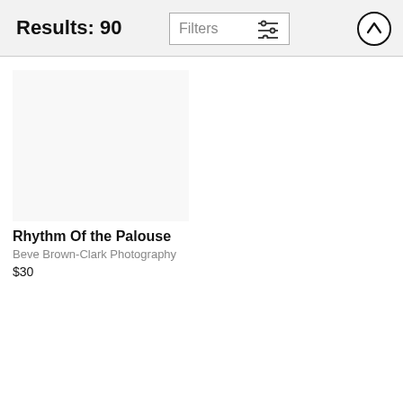Results: 90
Filters
Rhythm Of the Palouse
Beve Brown-Clark Photography
$30